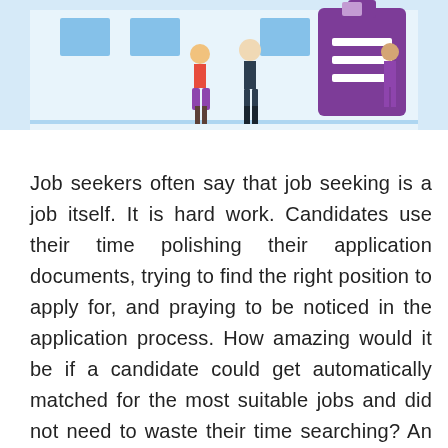[Figure (illustration): Illustration of people standing in front of a building with a large purple clipboard/document icon with horizontal lines on it, suggesting job application or hiring theme. Light blue background with stylized figures.]
Job seekers often say that job seeking is a job itself. It is hard work. Candidates use their time polishing their application documents, trying to find the right position to apply for, and praying to be noticed in the application process. How amazing would it be if a candidate could get automatically matched for the most suitable jobs and did not need to waste their time searching? An AI-